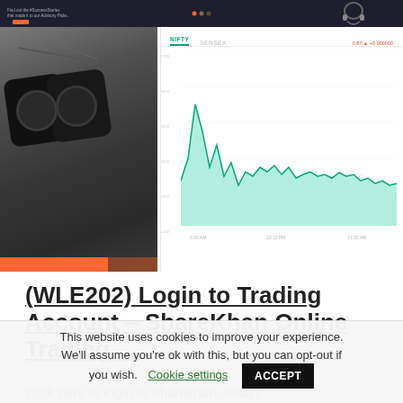[Figure (screenshot): Screenshot of ShareKhan trading platform showing a stock chart (NIFTY/SENSEX area chart with green fill) on the right and a dark banner with camera/binoculars image on the left]
(WLE202) Login to Trading Account – ShareKhan Online Trading ...
Click here to login to Sharekhan, India&#39;s leading broking house, providing online trading of...
This website uses cookies to improve your experience. We'll assume you're ok with this, but you can opt-out if you wish. Cookie settings ACCEPT